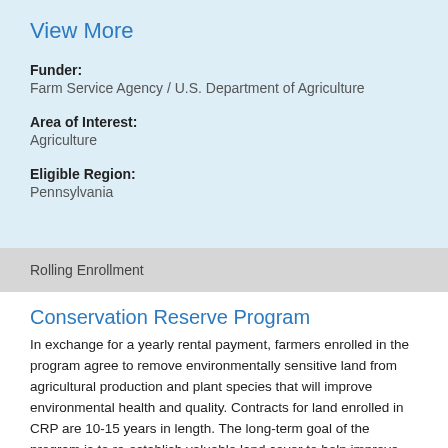View More
Funder:
Farm Service Agency / U.S. Department of Agriculture
Area of Interest:
Agriculture
Eligible Region:
Pennsylvania
Rolling Enrollment
Conservation Reserve Program
In exchange for a yearly rental payment, farmers enrolled in the program agree to remove environmentally sensitive land from agricultural production and plant species that will improve environmental health and quality. Contracts for land enrolled in CRP are 10-15 years in length. The long-term goal of the program is to re-establish valuable land cover to help improve water quality, prevent soil erosion, and reduce loss